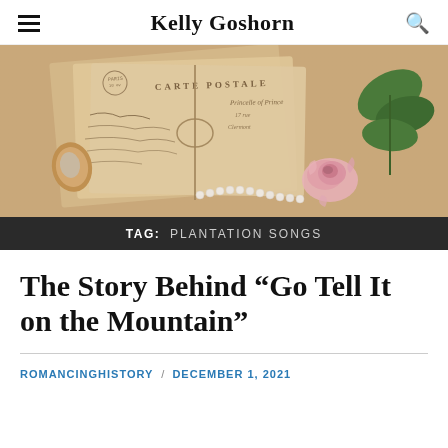Kelly Goshorn
[Figure (photo): Vintage postcards tied with twine, pearl necklace, pink rose, and green leaves arranged on a beige linen surface.]
TAG: PLANTATION SONGS
The Story Behind “Go Tell It on the Mountain”
ROMANCINGHISTORY / DECEMBER 1, 2021